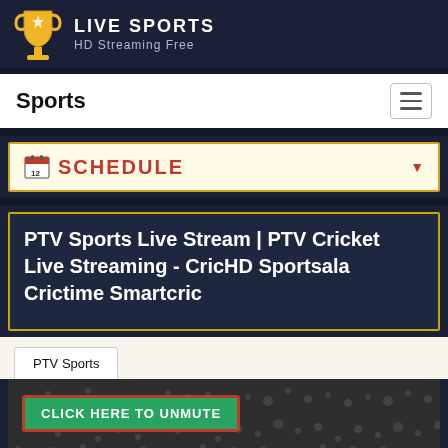[Figure (logo): Live Sports HD Streaming Free logo with golden trophy icon and white text on dark navy background]
Sports
SCHEDULE
PTV Sports Live Stream | PTV Cricket Live Streaming - CricHD Sportsala Crictime Smartcric
PTV Sports
[Figure (screenshot): Video player area with crowd background and green CLICK HERE TO UNMUTE button with red border]